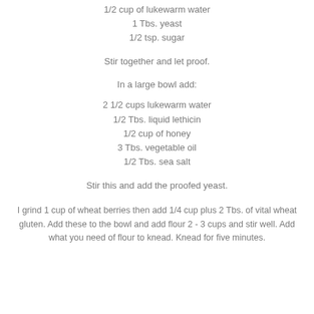1/2 cup of lukewarm water
1 Tbs. yeast
1/2 tsp. sugar
Stir together and let proof.
In a large bowl add:
2 1/2 cups lukewarm water
1/2 Tbs. liquid lethicin
1/2 cup of honey
3 Tbs. vegetable oil
1/2 Tbs. sea salt
Stir this and add the proofed yeast.
I grind 1 cup of wheat berries then add 1/4 cup plus 2 Tbs. of vital wheat gluten. Add these to the bowl and add flour 2 - 3 cups and stir well. Add what you need of flour to knead. Knead for five minutes.